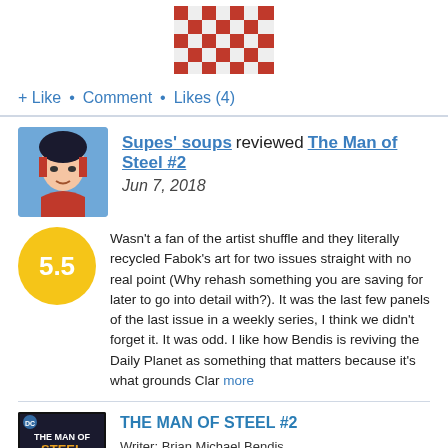[Figure (photo): Chess board image with pieces visible]
+ Like • Comment • Likes (4)
Supes' soups reviewed The Man of Steel #2
Jun 7, 2018
Wasn't a fan of the artist shuffle and they literally recycled Fabok's art for two issues straight with no real point (Why rehash something you are saving for later to go into detail with?). It was the last few panels of the last issue in a weekly series, I think we didn't forget it. It was odd. I like how Bendis is reviving the Daily Planet as something that matters because it's what grounds Clar more
[Figure (photo): The Man of Steel #2 comic book cover]
THE MAN OF STEEL #2
Writer: Brian Michael Bendis
Artist: Evan Shaner
Released: Jun 6, 2018
Publisher: DC Comics